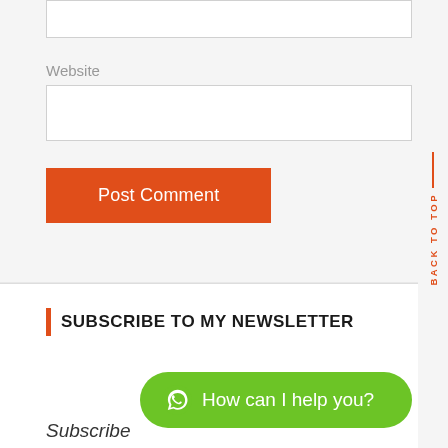Website
[Figure (screenshot): Website input field (empty text input box)]
Post Comment
SUBSCRIBE TO MY NEWSLETTER
[Figure (other): WhatsApp chat button: How can I help you?]
Subscribe...